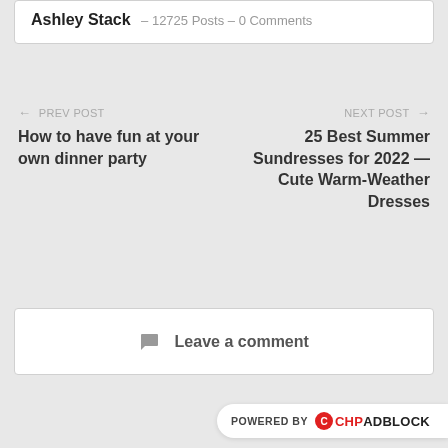Ashley Stack – 12725 Posts – 0 Comments
← PREV POST
How to have fun at your own dinner party
NEXT POST →
25 Best Summer Sundresses for 2022 — Cute Warm-Weather Dresses
💬 Leave a comment
POWERED BY 🔴CHPADBLOCK